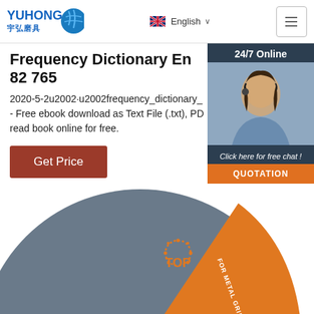YUHONG 宇弘磨具 | English | Navigation
Frequency Dictionary En 82 765
2020-5-2u2002·u2002frequency_dictionary_ - Free ebook download as Text File (.txt), PD read book online for free.
Get Price
[Figure (photo): Customer service representative with headset, 24/7 Online chat widget with QUOTATION button]
[Figure (photo): Yuhong grinding disc product photo - grey and orange abrasive cutting wheel with Juoos branding and FOR METAL GRINDING text, with TOP badge]